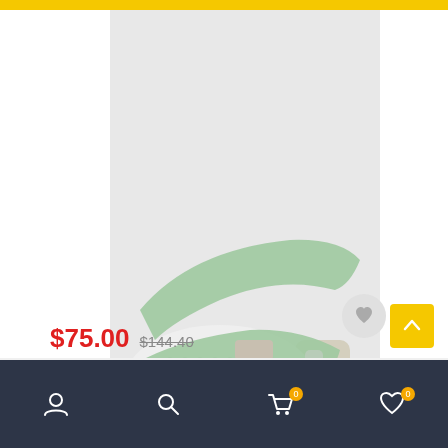[Figure (photo): White and mint green sport sandal with velcro straps, mesh upper, and gray/white chunky sole, photographed on a light background]
$75.00 $144.40
[Figure (other): Mobile app bottom navigation bar with user, search, cart (0), and wishlist (0) icons on a dark navy background]